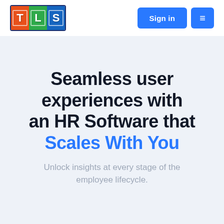[Figure (logo): TLS logo with three colored squares: orange T, green L, blue S, outlined with dark blue border]
Sign in
Seamless user experiences with an HR Software that Scales With You
Unlock insights at every stage of the employee lifecycle.